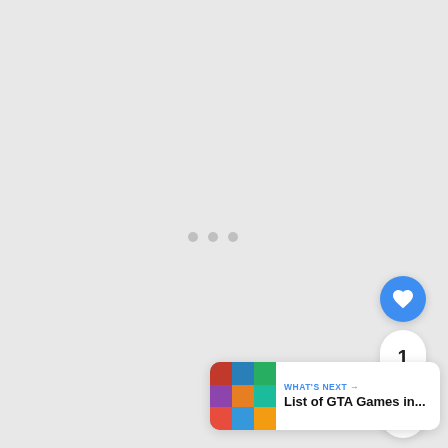[Figure (screenshot): Loading indicator with three gray dots centered on a light gray background]
[Figure (other): Blue circular like/heart button with count bubble showing '1' and white circular share button below]
[Figure (other): What's Next card with thumbnail collage and text 'WHAT'S NEXT → List of GTA Games in...']